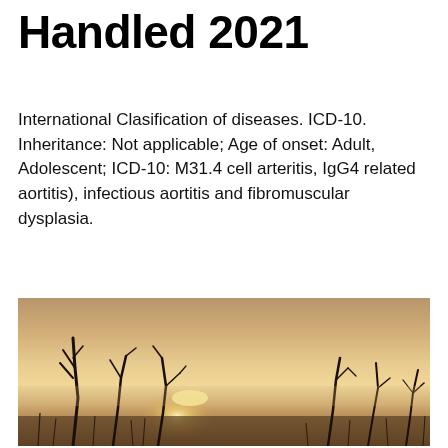Handled 2021
International Clasification of diseases. ICD-10. Inheritance: Not applicable; Age of onset: Adult, Adolescent; ICD-10: M31.4 cell arteritis, IgG4 related aortitis), infectious aortitis and fibromuscular dysplasia.
[Figure (photo): Sepia-toned photograph of bare, twisted dead tree branches silhouetted against a hazy, foggy sky with a dim sun visible near the horizon. Dry grass or reeds visible at the bottom.]